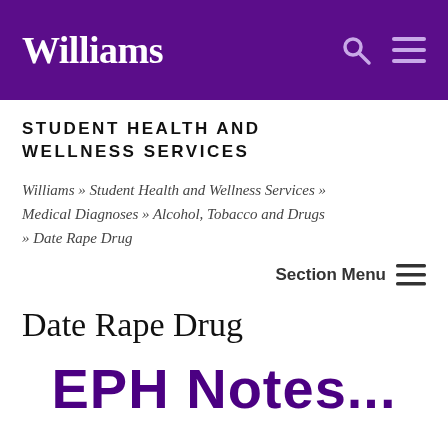Williams
STUDENT HEALTH AND WELLNESS SERVICES
Williams » Student Health and Wellness Services » Medical Diagnoses » Alcohol, Tobacco and Drugs » Date Rape Drug
Section Menu
Date Rape Drug
EPH Notes...